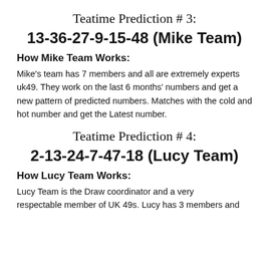Teatime Prediction # 3:
13-36-27-9-15-48 (Mike Team)
How Mike Team Works:
Mike's team has 7 members and all are extremely experts uk49. They work on the last 6 months' numbers and get a new pattern of predicted numbers. Matches with the cold and hot number and get the Latest number.
Teatime Prediction # 4:
2-13-24-7-47-18 (Lucy Team)
How Lucy Team Works:
Lucy Team is the Draw coordinator and a very respectable member of UK 49s. Lucy has 3 members and